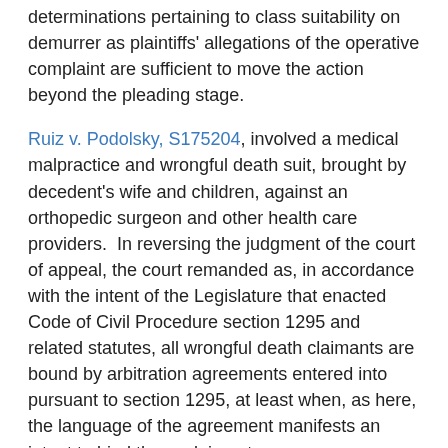determinations pertaining to class suitability on demurrer as plaintiffs' allegations of the operative complaint are sufficient to move the action beyond the pleading stage.
Ruiz v. Podolsky, S175204, involved a medical malpractice and wrongful death suit, brought by decedent's wife and children, against an orthopedic surgeon and other health care providers. In reversing the judgment of the court of appeal, the court remanded as, in accordance with the intent of the Legislature that enacted Code of Civil Procedure section 1295 and related statutes, all wrongful death claimants are bound by arbitration agreements entered into pursuant to section 1295, at least when, as here, the language of the agreement manifests an intent to bind these claimants.
Murray v. Alaska Airlines, Inc., S162570, involved a plaintiff's suit against Alaska Airlines claiming wrongful termination and retaliation for whistleblowing, brought after a final